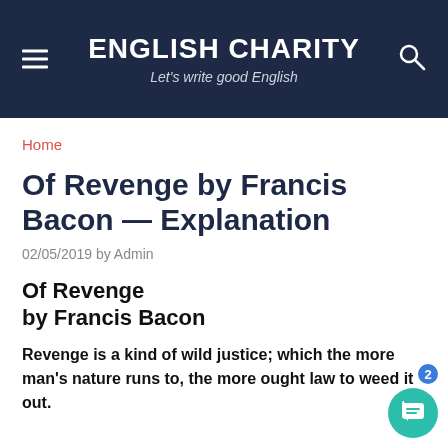ENGLISH CHARITY — Let's write good English
Home
Of Revenge by Francis Bacon — Explanation
02/05/2019 by Admin
Of Revenge by Francis Bacon
Revenge is a kind of wild justice; which the more man's nature runs to, the more ought law to weed it out.